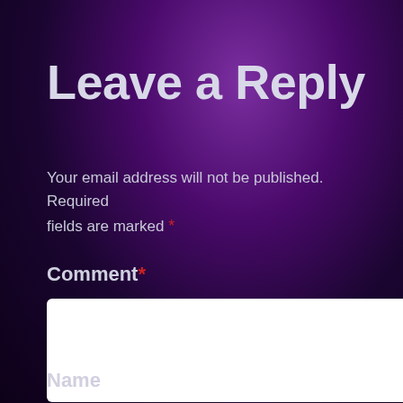Leave a Reply
Your email address will not be published. Required fields are marked *
Comment *
[Figure (other): Empty white comment textarea input box]
Name